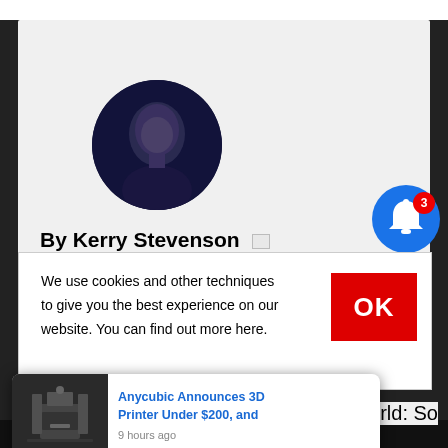[Figure (photo): Circular profile photo of a man (Kerry Stevenson) against a dark background]
By Kerry Stevenson
[Figure (screenshot): Blue notification bell icon with red badge showing number 3]
We use cookies and other techniques to give you the best experience on our website. You can find out more here.
[Figure (screenshot): Red OK button in cookie consent banner]
intention to promote and grow the incredible
[Figure (screenshot): Push notification card: Anycubic Announces 3D Printer Under $200, and — 9 hours ago, with thumbnail of 3D printer]